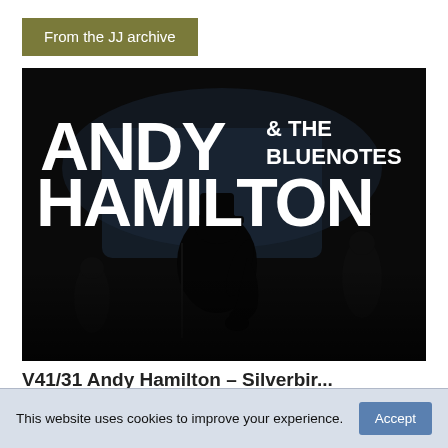From the JJ archive
[Figure (photo): Black and white promotional photo for Andy Hamilton & The Bluenotes. Large bold white text reads 'ANDY & THE BLUENOTES HAMILTON' over a dark background with a silhouette of a musician playing saxophone on stage.]
V41/31 Andy Hamilton – Silverbir...
This website uses cookies to improve your experience.